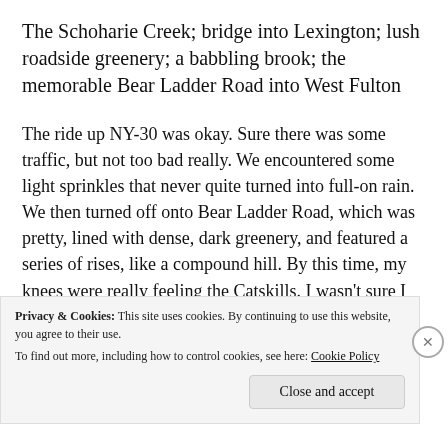The Schoharie Creek; bridge into Lexington; lush roadside greenery; a babbling brook; the memorable Bear Ladder Road into West Fulton
The ride up NY-30 was okay. Sure there was some traffic, but not too bad really. We encountered some light sprinkles that never quite turned into full-on rain. We then turned off onto Bear Ladder Road, which was pretty, lined with dense, dark greenery, and featured a series of rises, like a compound hill. By this time, my knees were really feeling the Catskills. I wasn't sure I could manage any more hills. I began to worry that I was doing some damage to my knees that could prevent me from being able to keep hiking
Privacy & Cookies: This site uses cookies. By continuing to use this website, you agree to their use.
To find out more, including how to control cookies, see here: Cookie Policy
Close and accept